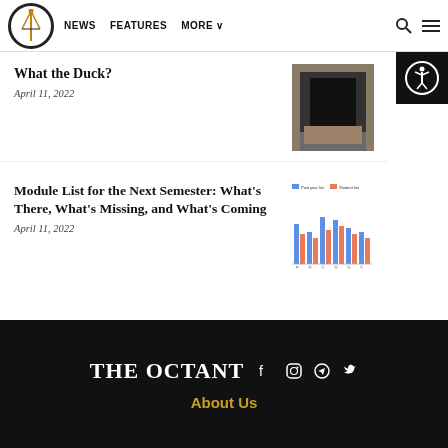NEWS   FEATURES   MORE
What the Duck?
April 11, 2022
[Figure (photo): Dark image of what appears to be a drain or vent opening]
Module List for the Next Semester: What’s There, What’s Missing, and What’s Coming
April 11, 2022
[Figure (grouped-bar-chart): Grouped bar chart comparing two data series across multiple categories, blue and red bars]
THE OCTANT   About Us